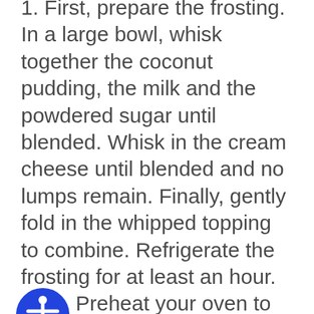1. First, prepare the frosting. In a large bowl, whisk together the coconut pudding, the milk and the powdered sugar until blended. Whisk in the cream cheese until blended and no lumps remain. Finally, gently fold in the whipped topping to combine. Refrigerate the frosting for at least an hour.
2. Preheat your oven to 350 degrees F. Line 2 muffin tins with 24 paper liners; set aside.
3. In a large bowl, beat together the cake mix, applesauce, coconut cream, water and egg whites for 2 minutes. Stir in the coconut pudding to combine. Portion the batter evenly among muffin cups, about